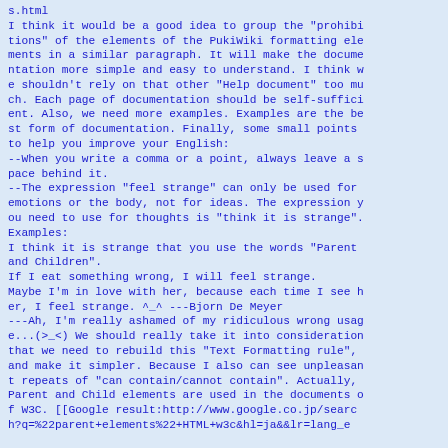s.html
I think it would be a good idea to group the "prohibitions" of the elements of the PukiWiki formatting elements in a similar paragraph. It will make the documentation more simple and easy to understand. I think we shouldn't rely on that other "Help document" too much. Each page of documentation should be self-sufficient. Also, we need more examples. Examples are the best form of documentation. Finally, some small points to help you improve your English:
--When you write a comma or a point, always leave a space behind it.
--The expression "feel strange" can only be used for emotions or the body, not for ideas. The expression you need to use for thoughts is "think it is strange". Examples:
I think it is strange that you use the words "Parent and Children".
If I eat something wrong, I will feel strange.
Maybe I'm in love with her, because each time I see her, I feel strange. ^_^ ---Bjorn De Meyer
---Ah, I'm really ashamed of my ridiculous wrong usage...(>_<) We should really take it into consideration that we need to rebuild this "Text Formatting rule", and make it simpler. Because I also can see unpleasant repeats of "can contain/cannot contain". Actually, Parent and Child elements are used in the documents of W3C. [[Google result:http://www.google.co.jp/search?q=%22parent+elements%22+HTML+w3c&hl=ja&&lr=lang_e